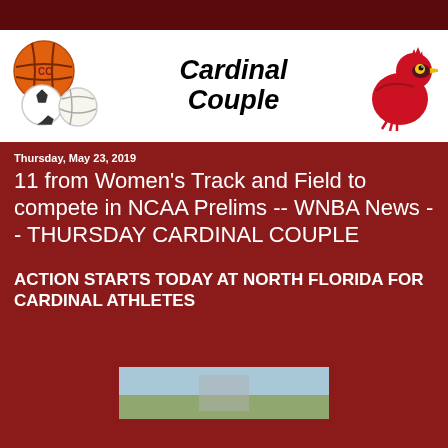[Figure (logo): Cardinal Couple banner with sports balls on left, 'Cardinal Couple' italic bold text in center, and Louisville Cardinals bird mascot logo on the right]
Thursday, May 23, 2019
11 from Women's Track and Field to compete in NCAA Prelims -- WNBA News -- THURSDAY CARDINAL COUPLE
ACTION STARTS TODAY AT NORTH FLORIDA FOR CARDINAL ATHLETES
[Figure (photo): Partial photo visible at bottom of page]